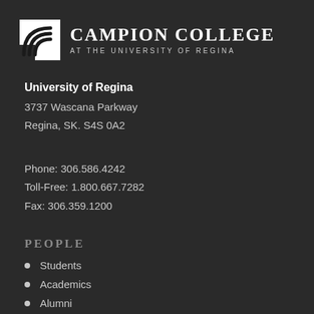[Figure (logo): Campion College at the University of Regina logo — white icon with stylized curved lines on dark background, next to text 'CAMPION COLLEGE' and 'AT THE UNIVERSITY OF REGINA']
University of Regina
3737 Wascana Parkway
Regina, SK. S4S 0A2
Phone: 306.586.4242
Toll-Free: 1.800.667.7282
Fax: 306.359.1200
PEOPLE
Students
Academics
Alumni